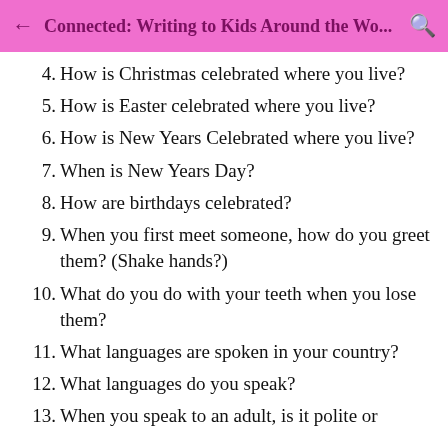Connected: Writing to Kids Around the Wo...
4. How is Christmas celebrated where you live?
5. How is Easter celebrated where you live?
6. How is New Years Celebrated where you live?
7. When is New Years Day?
8. How are birthdays celebrated?
9. When you first meet someone, how do you greet them? (Shake hands?)
10. What do you do with your teeth when you lose them?
11. What languages are spoken in your country?
12. What languages do you speak?
13. When you speak to an adult, is it polite or